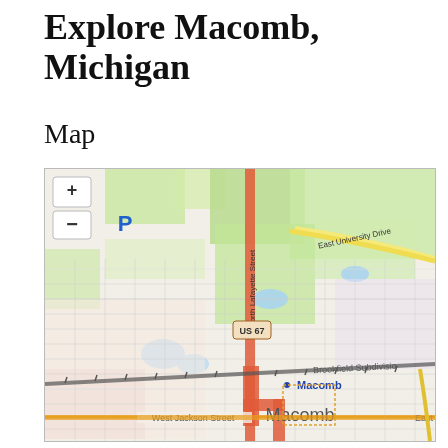Explore Macomb, Michigan
Map
[Figure (map): Street map of Macomb, Michigan showing North Lafayette Street, East University Drive, US 67 highway marker, Brookfield Subdivision, West Jackson Street, East Jackson Street, and a blue Macomb label marker. Map includes zoom controls (+ and -) in upper left, a blue P parking symbol, green park areas, residential grid streets, and a diagonal railroad line crossing the map.]